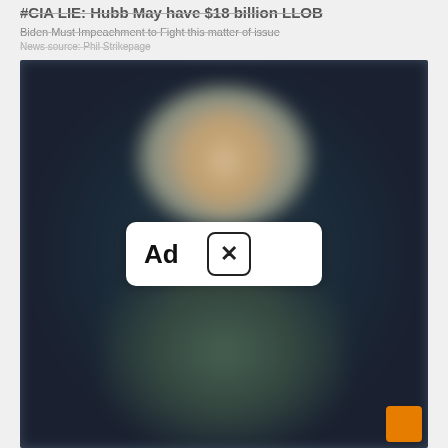#CIA LIE: Hubb May have $18 billion LLOB
Biden Must Impeachment to Fight this matter of issue
News source: Phil Strikepage
[Figure (photo): Blurred/redacted photo of a blonde woman speaking or singing against a dark background, with an Ad close button overlay in the center of the image. An orange badge is visible in the bottom right corner.]